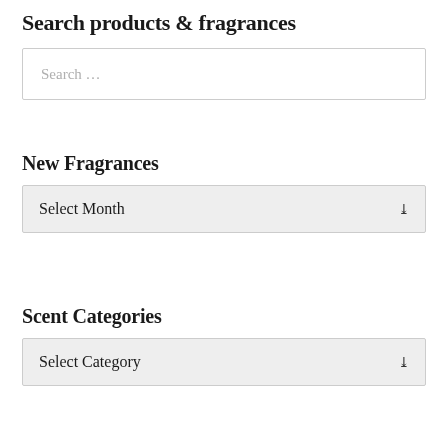Search products & fragrances
[Figure (screenshot): Search input box with placeholder text 'Search ...']
New Fragrances
[Figure (screenshot): Dropdown select box with placeholder 'Select Month' and chevron arrow]
Scent Categories
[Figure (screenshot): Dropdown select box with placeholder 'Select Category' and chevron arrow]
Cart